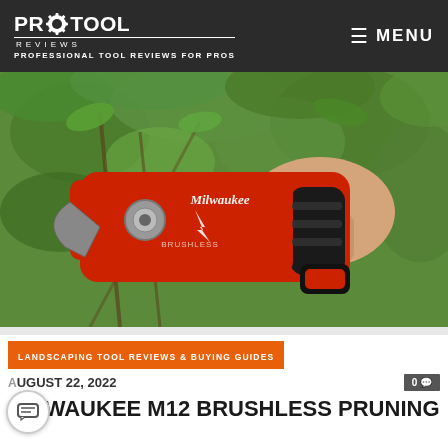PRO TOOL REVIEWS — PROFESSIONAL TOOL REVIEWS FOR PROS | MENU
[Figure (photo): Close-up photo of a person's hand gripping a red Milwaukee M12 brushless pruning shear tool, with green leafy branches in the background outdoors.]
LANDSCAPING TOOL REVIEWS & BUYING GUIDES
AUGUST 22, 2022
MILWAUKEE M12 BRUSHLESS PRUNING